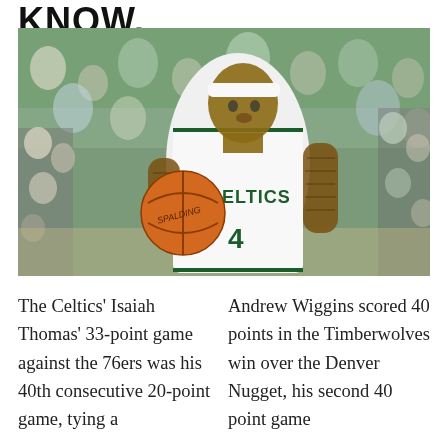KNOW.
[Figure (photo): Isaiah Thomas, Boston Celtics player wearing jersey number 4, dribbling a Spalding basketball, wearing a white headband, heavily tattooed arms, crowd in background]
The Celtics' Isaiah Thomas' 33-point game against the 76ers was his 40th consecutive 20-point game, tying a Andrew Wiggins scored 40 points in the Timberwolves win over the Denver Nugget, his second 40 point game